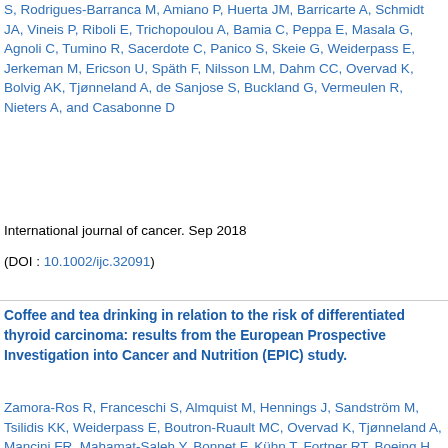S, Rodrigues-Barranca M, Amiano P, Huerta JM, Barricarte A, Schmidt JA, Vineis P, Riboli E, Trichopoulou A, Bamia C, Peppa E, Masala G, Agnoli C, Tumino R, Sacerdote C, Panico S, Skeie G, Weiderpass E, Jerkeman M, Ericson U, Späth F, Nilsson LM, Dahm CC, Overvad K, Bolvig AK, Tjønneland A, de Sanjose S, Buckland G, Vermeulen R, Nieters A, and Casabonne D
International journal of cancer. Sep 2018
(DOI : 10.1002/ijc.32091)
Coffee and tea drinking in relation to the risk of differentiated thyroid carcinoma: results from the European Prospective Investigation into Cancer and Nutrition (EPIC) study.
Zamora-Ros R, Franceschi S, Almquist M, Hennings J, Sandström M, Tsilidis KK, Weiderpass E, Boutron-Ruault MC, Overvad K, Tjønneland A, Mancini FR, Mahamat-Saleh Y, Bonnet F, Kühn T, Fortner RT, Boeing H, Trichopoulou A, Bamia C, Masala G, Grioni S, Panico S, Tumino